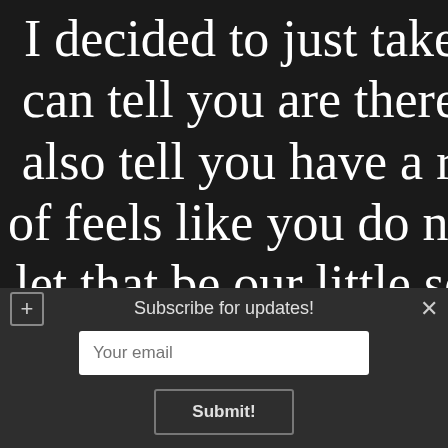I decided to just take you to a s can tell you are there now. Don also tell you have a really big b of feels like you do now that I th let that be our little secret - no o for God's sake! If you do have don't c
Subscribe for updates!
Your email
Submit!